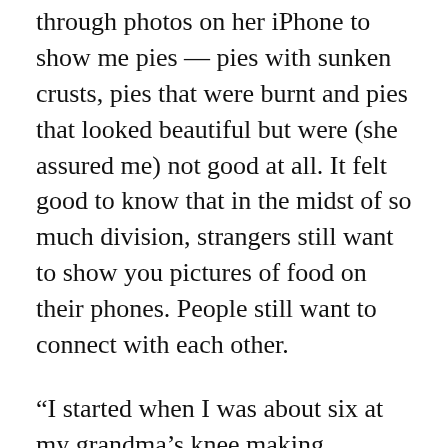through photos on her iPhone to show me pies — pies with sunken crusts, pies that were burnt and pies that looked beautiful but were (she assured me) not good at all. It felt good to know that in the midst of so much division, strangers still want to show you pictures of food on their phones. People still want to connect with each other.
“I started when I was about six at my grandma’s knee making chocolate chip cookies,” said Keegan Rodgers, head baker and bakery manager at the People’s Food Co-op, as well as the class’s teacher. “That started my love.”